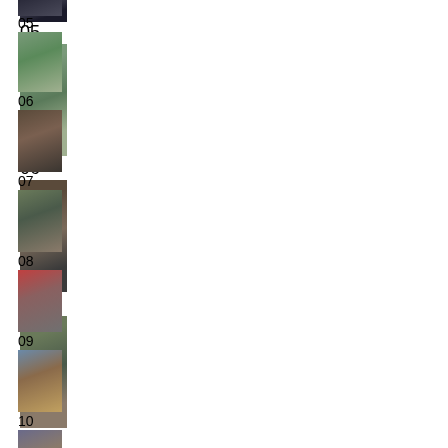[Figure (photo): Small thumbnail photo at top, dark tones]
05
[Figure (photo): Thumbnail 05 - outdoor scene with waterfall/vegetation, green tones]
06
[Figure (photo): Thumbnail 06 - portrait of a bearded man]
07
[Figure (photo): Thumbnail 07 - outdoor scene with structure and vegetation]
08
[Figure (photo): Thumbnail 08 - person in red hoodie]
09
[Figure (photo): Thumbnail 09 - building exterior]
10
[Figure (photo): Thumbnail 10 - partial image at bottom]